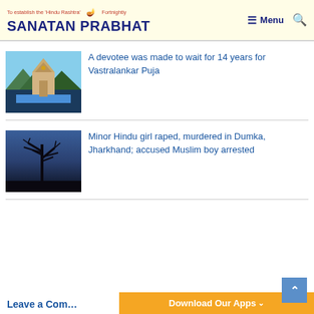To establish the 'Hindu Rashtra' Fortnightly | SANATAN PRABHAT | Menu | Search
[Figure (photo): Hindu temple gopuram with mountains in background]
A devotee was made to wait for 14 years for Vastralankar Puja
[Figure (photo): Dark silhouette image of bare tree branches against a blue-grey sky]
Minor Hindu girl raped, murdered in Dumka, Jharkhand; accused Muslim boy arrested
Leave a Com...
Download Our Apps